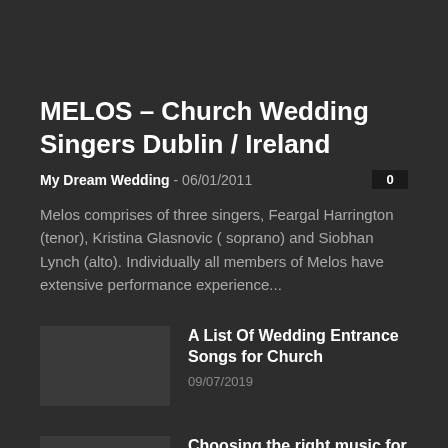MELOS – Church Wedding Singers Dublin / Ireland
My Dream Wedding - 06/01/2011
Melos comprises of three singers, Feargal Harrington (tenor), Kristina Glasnovic ( soprano) and Siobhan Lynch (alto). Individually all members of Melos have extensive performance experience...
A List Of Wedding Entrance Songs for Church
09/07/2019
Choosing the right music for the night
17/09/2014